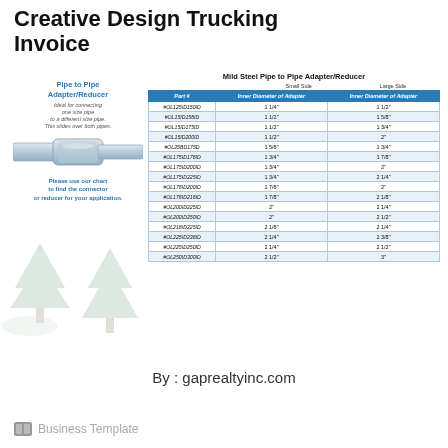Creative Design Trucking Invoice
[Figure (illustration): Pipe to Pipe Adapter/Reducer diagram showing a pipe connector image with descriptive text and decorative tree background]
Mild Steel Pipe to Pipe Adapter/Reducer
| Part # | Inner Diameter of Adapter (Small Side) | Inner Diameter of Adapter (Large Side) |
| --- | --- | --- |
| #OL125ID150ID | 1 1/4" | 1 1/2" |
| #OL15ID158ID | 1 1/2" | 1 5/8" |
| #OL15ID175ID | 1 1/2" | 1 3/4" |
| #OL15ID200ID | 1 1/2" | 2" |
| #OL25BD175D | 1 5/8" | 1 3/4" |
| #OL175ID178ID | 1 3/4" | 1 7/8" |
| #OL175ID200ID | 1 3/4" | 2" |
| #OL175ID225ID | 1 3/4" | 2 1/4" |
| #OL178ID200ID | 1 7/8" | 2" |
| #OL178ID218ID | 1 7/8" | 2 1/8" |
| #OL200ID225ID | 2" | 2 1/4" |
| #OL200ID250ID | 2" | 2 1/2" |
| #OL218ID225ID | 2 1/8" | 2 1/4" |
| #OL225ID238ID | 2 1/4" | 2 3/8" |
| #OL225ID250ID | 2 1/4" | 2 1/2" |
| #OL250ID300ID | 2 1/2" | 3" |
By : gaprealtyinc.com
Business Template